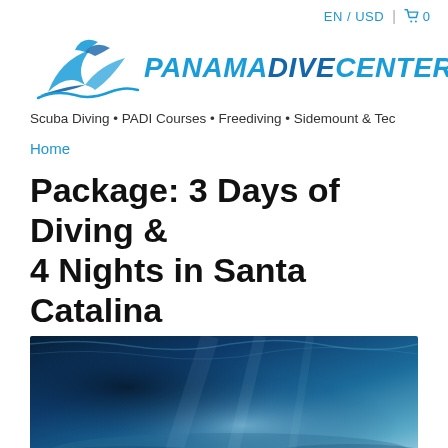EN / USD  🛒 0
[Figure (logo): Panama Dive Center logo with stylized fish/wave icon in blue and the text PANAMADIVECENTER in bold italic blue]
Scuba Diving • PADI Courses • Freediving • Sidemount & Tec
Home
Package: 3 Days of Diving & 4 Nights in Santa Catalina
[Figure (photo): Underwater/ocean photo showing blue water with light patterns on the surface and the ocean floor, dark blue tones]